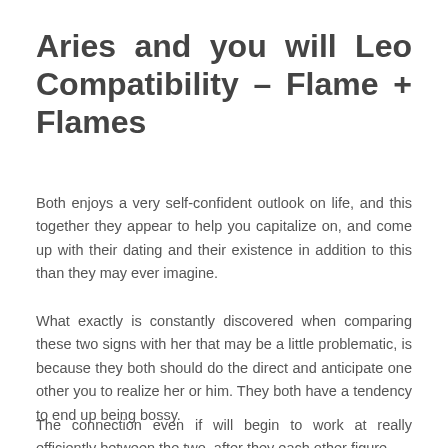Aries and you will Leo Compatibility – Flame + Flames
Both enjoys a very self-confident outlook on life, and this together they appear to help you capitalize on, and come up with their dating and their existence in addition to this than they may ever imagine.
What exactly is constantly discovered when comparing these two signs with her that may be a little problematic, is because they both should do the direct and anticipate one other you to realize her or him. They both have a tendency to end up being bossy.
The connection even if will begin to work at really efficiently between the two, after they each other figure